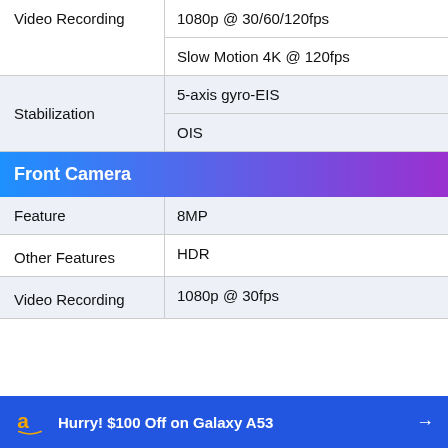| Feature | Value |
| --- | --- |
| Video Recording | 1080p @ 30/60/120fps |
| Video Recording | Slow Motion 4K @ 120fps |
| Stabilization | 5-axis gyro-EIS |
| Stabilization | OIS |
Front Camera
| Feature | Value |
| --- | --- |
| Feature | 8MP |
| Other Features | HDR |
| Video Recording | 1080p @ 30fps |
Hurry! $100 Off on Galaxy A53